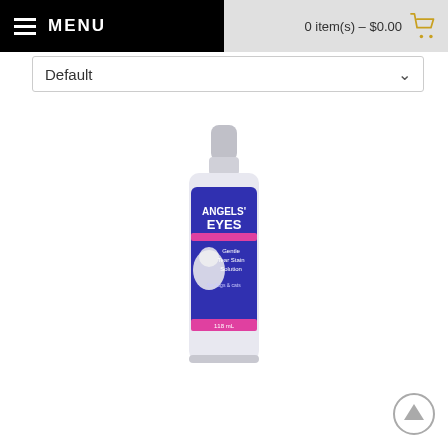MENU
0 item(s) - $0.00
Default
[Figure (photo): A bottle of Angels Eyes Gentle Tear Stain Solution for dogs, with a blue and pink label featuring a white dog, and a gray flip-top cap.]
[Figure (other): Scroll-to-top circular button with upward arrow icon in light gray.]